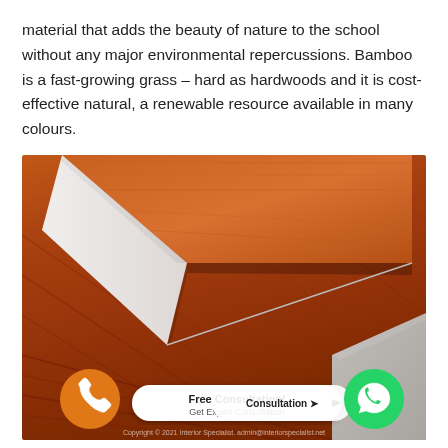material that adds the beauty of nature to the school without any major environmental repercussions. Bamboo is a fast-growing grass – hard as hardwoods and it is cost-effective natural, a renewable resource available in many colours.
[Figure (photo): Close-up photo of bamboo or hardwood flooring planks with a white baseboard/skirting, showing warm reddish-brown wood grain texture. Overlaid with UI elements: an orange phone button on the left, a green WhatsApp button on the right, and a white pill-shaped button in the center reading 'Free Consultation! Get Expert Consultation' with an arrow, plus a copyright notice at the bottom.]